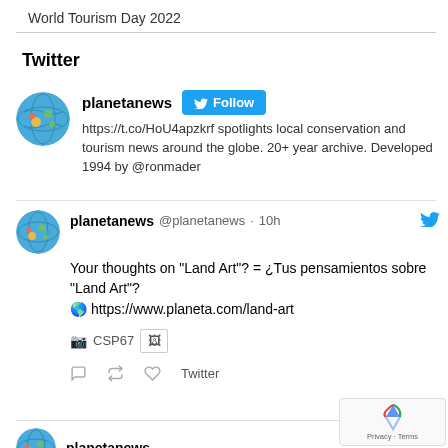World Tourism Day 2022
Twitter
[Figure (screenshot): planetanews Twitter profile card with Follow button and bio text]
https://t.co/HoU4apzkrf spotlights local conservation and tourism news around the globe. 20+ year archive. Developed 1994 by @ronmader
[Figure (screenshot): planetanews tweet: Your thoughts on "Land Art"? = ¿Tus pensamientos sobre "Land Art"? 🌎 https://www.planeta.com/land-art — with media thumbnail CSP67, tweet actions, 10h ago]
Your thoughts on "Land Art"? = ¿Tus pensamientos sobre "Land Art"? 🌎 https://www.planeta.com/land-art
📷CSP67
[Figure (screenshot): planetanews next tweet partially visible at bottom]